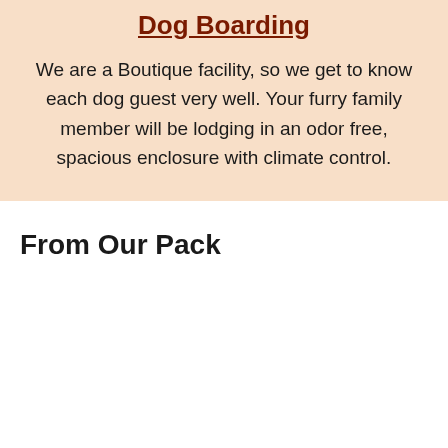Dog Boarding
We are a Boutique facility, so we get to know each dog guest very well. Your furry family member will be lodging in an odor free, spacious enclosure with climate control.
From Our Pack